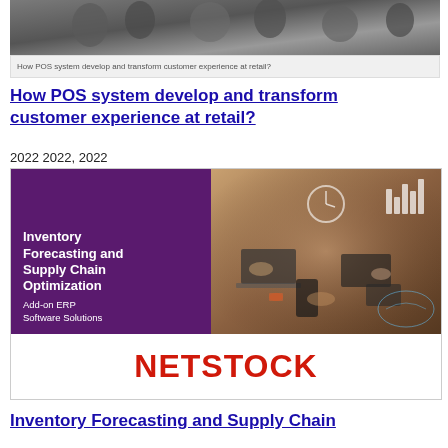[Figure (photo): Photo of people at retail with POS system, with caption bar below reading 'How POS system develop and transform customer experience at retail?']
How POS system develop and transform customer experience at retail?
2022 2022, 2022
[Figure (photo): Advertisement image: left side purple background with text 'Inventory Forecasting and Supply Chain Optimization Add-on ERP Software Solutions', right side photo of people working at desk with digital overlays. Bottom white section with NETSTOCK in red.]
Inventory Forecasting and Supply Chain